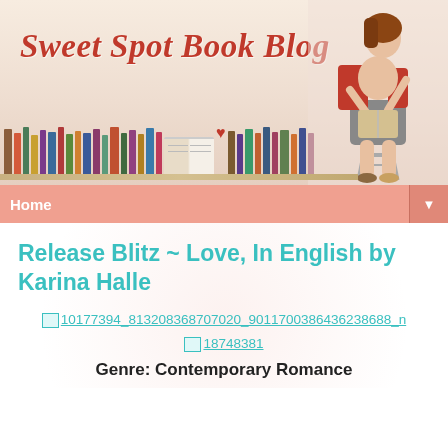[Figure (illustration): Sweet Spot Book Blog banner header with cursive red title text, stacked books along the bottom, a red heart, and a woman sitting on a stool reading a book on the right side]
Home ▼
Release Blitz ~ Love, In English by Karina Halle
[Figure (other): Broken image placeholder for: 10177394_813208368707020_9011700386436238688_n]
[Figure (other): Broken image placeholder for: 18748381]
Genre: Contemporary Romance